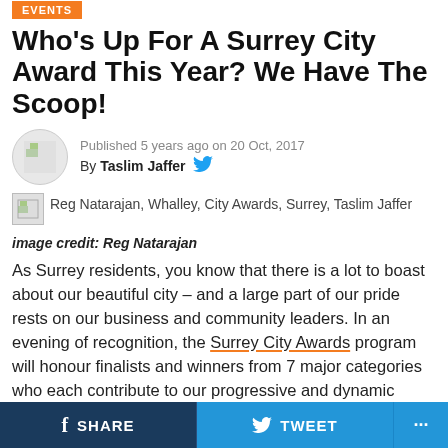EVENTS
Who's Up For A Surrey City Award This Year? We Have The Scoop!
Published 5 years ago on 20 Oct, 2017
By Taslim Jaffer
Reg Natarajan, Whalley, City Awards, Surrey, Taslim Jaffer
image credit: Reg Natarajan
As Surrey residents, you know that there is a lot to boast about our beautiful city – and a large part of our pride rests on our business and community leaders. In an evening of recognition, the Surrey City Awards program will honour finalists and winners from 7 major categories who each contribute to our progressive and dynamic corner of the world. We are excited to share with
SHARE   TWEET   ...